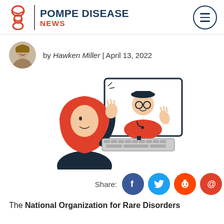POMPE DISEASE NEWS
by Hawken Miller | April 13, 2022
[Figure (illustration): Illustration of a woman wearing a red hijab waving at a doctor on a computer screen during a telehealth video call. The doctor is wearing a red coat and a dark hat, also waving back through the monitor.]
Share:
The National Organization for Rare Disorders